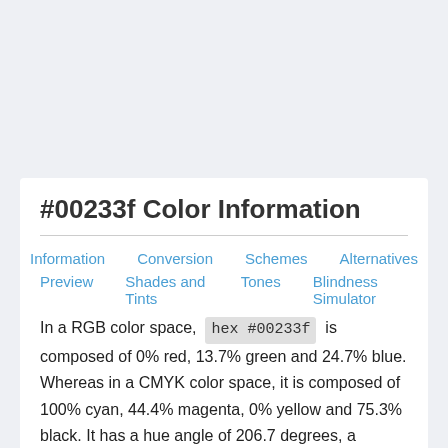#00233f Color Information
Information  Conversion  Schemes  Alternatives  Preview  Shades and Tints  Tones  Blindness Simulator
In a RGB color space, hex #00233f is composed of 0% red, 13.7% green and 24.7% blue. Whereas in a CMYK color space, it is composed of 100% cyan, 44.4% magenta, 0% yellow and 75.3% black. It has a hue angle of 206.7 degrees, a saturation of 100% and a lightness of 12.4%. #00233f color hex could be obtained by blending